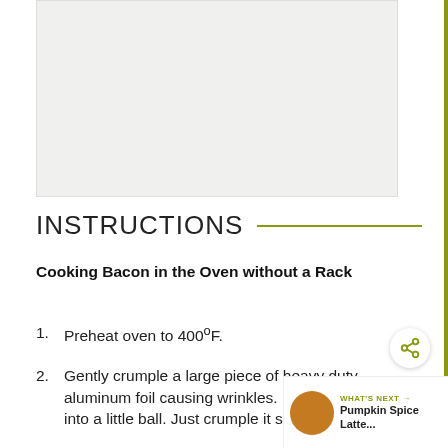[Figure (photo): Blank/placeholder image area at top of page, light gray background]
INSTRUCTIONS
Cooking Bacon in the Oven without a Rack
1. Preheat oven to 400ºF.
2. Gently crumple a large piece of heavy duty aluminum foil causing wrinkles. DO NOT crumple into a little ball. Just crumple it so the surface has wrinkles.